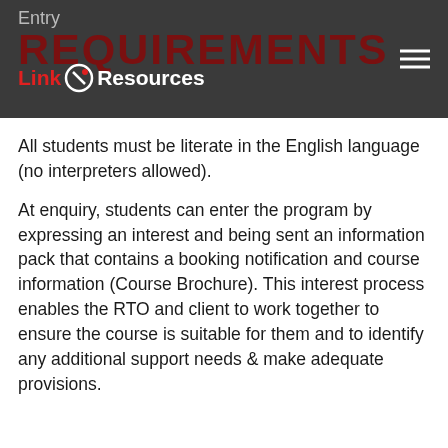Entry REQUIREMENTS — Link Resources
All students must be literate in the English language (no interpreters allowed).
At enquiry, students can enter the program by expressing an interest and being sent an information pack that contains a booking notification and course information (Course Brochure). This interest process enables the RTO and client to work together to ensure the course is suitable for them and to identify any additional support needs & make adequate provisions.